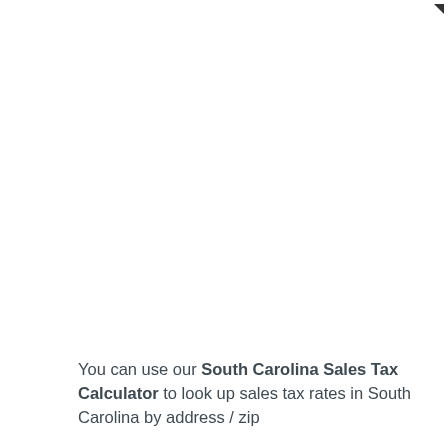You can use our South Carolina Sales Tax Calculator to look up sales tax rates in South Carolina by address / zip